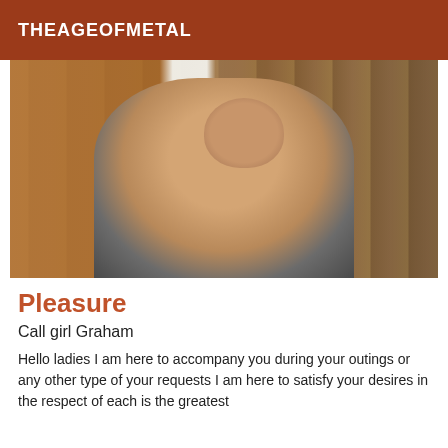THEAGEOFMETAL
[Figure (photo): A man taking a selfie leaning sideways near a white door frame with wood panel walls, wearing a gray shirt]
Pleasure
Call girl Graham
Hello ladies I am here to accompany you during your outings or any other type of your requests I am here to satisfy your desires in the respect of each is the greatest